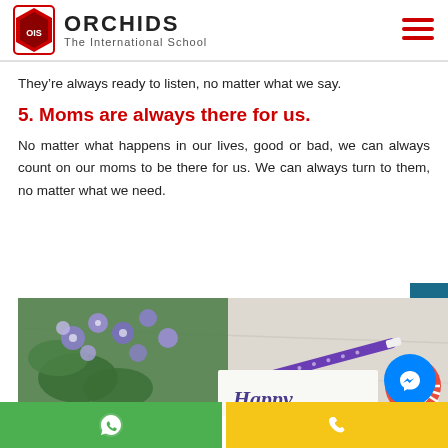ORCHIDS The International School
They’re always ready to listen, no matter what we say.
5. Moms are always there for us.
No matter what happens in our lives, good or bad, we can always count on our moms to be there for us. We can always turn to them, no matter what we need.
[Figure (photo): A photo showing purple/blue flowers, a purple pen, a 'Happy Mother's Day' card, and red and white twine on a white marble surface.]